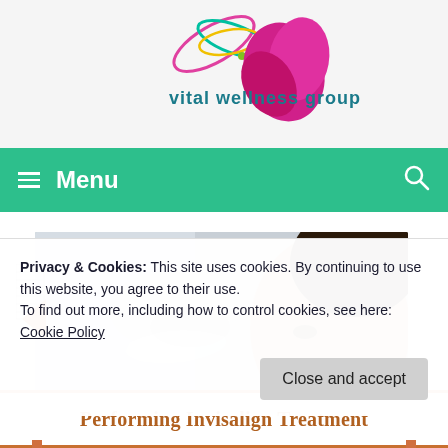[Figure (logo): Vital Wellness Group logo with colorful swirl and magenta flower, text reads 'vital wellness group']
Menu
[Figure (photo): Medical professional in gloves holding an Invisalign aligner near a patient's face]
Privacy & Cookies: This site uses cookies. By continuing to use this website, you agree to their use.
To find out more, including how to control cookies, see here:
Cookie Policy
Close and accept
Performing Invisalign Treatment